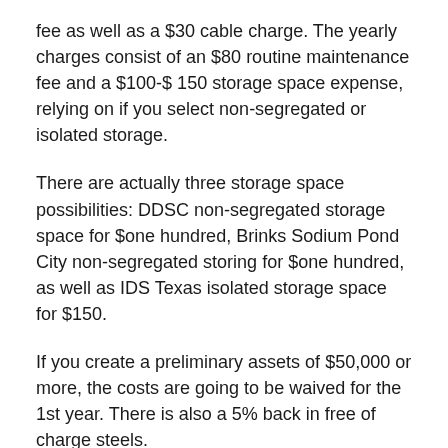fee as well as a $30 cable charge. The yearly charges consist of an $80 routine maintenance fee and a $100-$ 150 storage space expense, relying on if you select non-segregated or isolated storage.
There are actually three storage space possibilities: DDSC non-segregated storage space for $one hundred, Brinks Sodium Pond City non-segregated storing for $one hundred, as well as IDS Texas isolated storage space for $150.
If you create a preliminary assets of $50,000 or more, the costs are going to be waived for the 1st year. There is also a 5% back in free of charge steels.